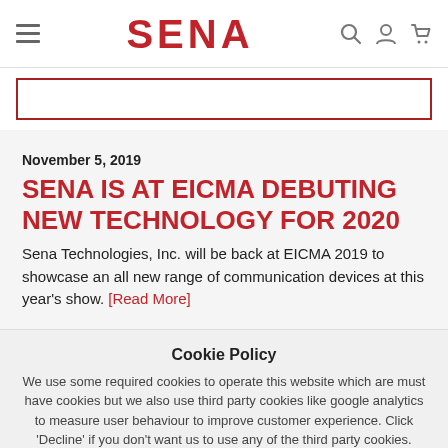SENA
November 5, 2019
SENA IS AT EICMA DEBUTING NEW TECHNOLOGY FOR 2020
Sena Technologies, Inc. will be back at EICMA 2019 to showcase an all new range of communication devices at this year's show. [Read More]
Cookie Policy
We use some required cookies to operate this website which are must have cookies but we also use third party cookies like google analytics to measure user behaviour to improve customer experience. Click 'Decline' if you don't want us to use any of the third party cookies.
More information   Accept   Decline